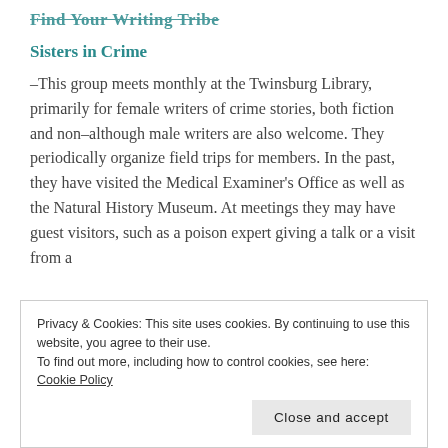Find Your Writing Tribe
Sisters in Crime
–This group meets monthly at the Twinsburg Library, primarily for female writers of crime stories, both fiction and non–although male writers are also welcome. They periodically organize field trips for members. In the past, they have visited the Medical Examiner's Office as well as the Natural History Museum. At meetings they may have guest visitors, such as a poison expert giving a talk or a visit from a
Privacy & Cookies: This site uses cookies. By continuing to use this website, you agree to their use. To find out more, including how to control cookies, see here: Cookie Policy
Close and accept